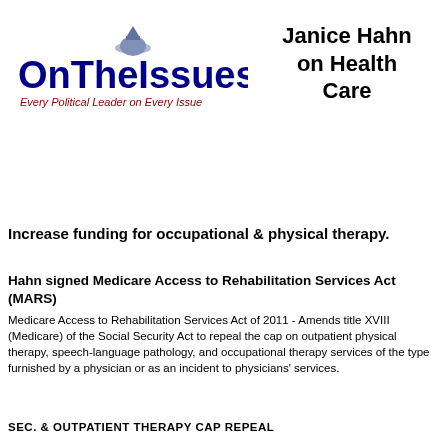[Figure (logo): OnTheIssues logo with dome graphic and tagline 'Every Political Leader on Every Issue']
Janice Hahn on Health Care
Increase funding for occupational & physical therapy.
Hahn signed Medicare Access to Rehabilitation Services Act (MARS)
Medicare Access to Rehabilitation Services Act of 2011 - Amends title XVIII (Medicare) of the Social Security Act to repeal the cap on outpatient physical therapy, speech-language pathology, and occupational therapy services of the type furnished by a physician or as an incident to physicians' services.
SEC. & OUTPATIENT THERAPY CAP REPEAL